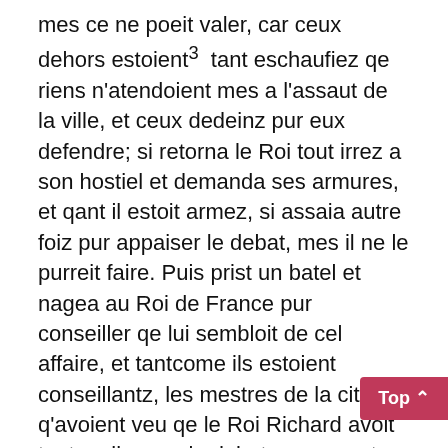mes ce ne poeit valer, car ceux dehors estoient³  tant eschaufiez qe riens n'atendoient mes a l'assaut de la ville, et ceux dedeinz pur eux defendre; si retorna le Roi tout irrez a son hostiel et demanda ses armures, et qant il estoit armez, si assaia autre foiz pur appaiser le debat, mes il ne le purreit faire. Puis prist un batel et nagea au Roi de France pur conseiller qe lui sembloit de cel affaire, et tantcome ils estoient conseillantz, les mestres de la citee, q'avoient veu qe le Roi Richard avoit tant mellez pur le debat appeser et ne poeit ses gentz retraire tanqe sils dedeinz se defendoient, et savoient bien qe la mellé estoit commencé par ceux dedeinz, pensantz qe les Engleis prendroient la citee a force, si l'assaut auqes endurrereit, si se afforceront affaire⁴  pees, et fesoient les gentz avaler les murs; donqes⁵  ceux dehors, qe ne virent plus de defence et avoient pour de lour seignur le Roi, qe tant feust irrez pur lour affaire, checun se treit⁶  envers son hostiel et se disarma coiement. L'endemein, le quart jour